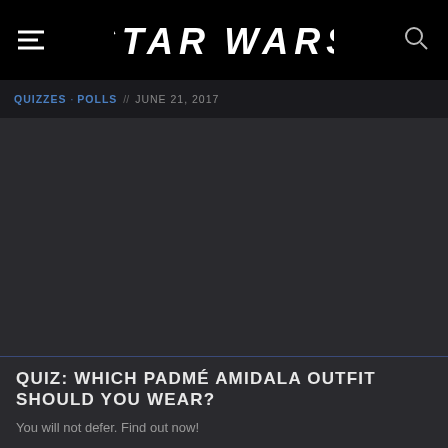STAR WARS
QUIZZES · POLLS // JUNE 21, 2017
[Figure (photo): Dark image area placeholder for a Star Wars article image]
QUIZ: WHICH PADMÉ AMIDALA OUTFIT SHOULD YOU WEAR?
You will not defer. Find out now!